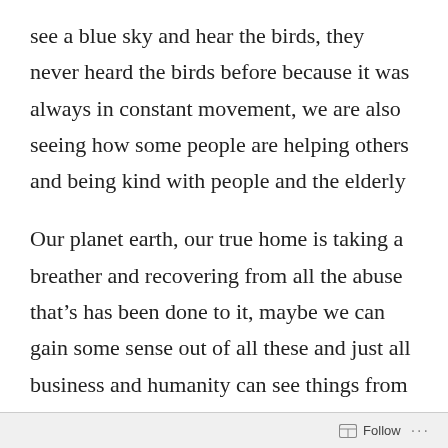see a blue sky and hear the birds, they never heard the birds before because it was always in constant movement, we are also seeing how some people are helping others and being kind with people and the elderly
Our planet earth, our true home is taking a breather and recovering from all the abuse that’s has been done to it, maybe we can gain some sense out of all these and just all business and humanity can see things from a different perspective, some people can work from home, some things can be done differently, it has been proven through this pandemic that can be done, we can all
Follow